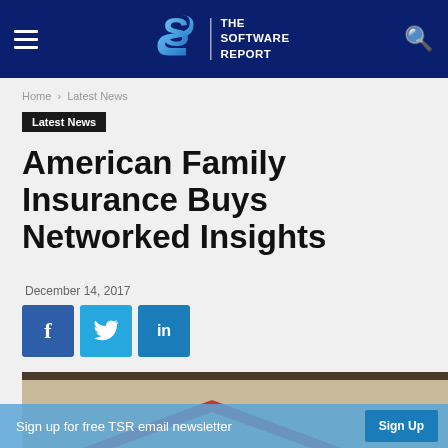[Figure (logo): The Software Report website header with dark blue background, hamburger menu, S logo, site name text, and search icon]
Home › Latest News
Latest News
American Family Insurance Buys Networked Insights
December 14, 2017
[Figure (illustration): Social share buttons: Facebook (f), Twitter (bird), LinkedIn (in)]
[Figure (photo): Partial photo showing a beige building exterior with a red roof/chevron shape]
Sign up for free TSR email newsletter   Sign Up